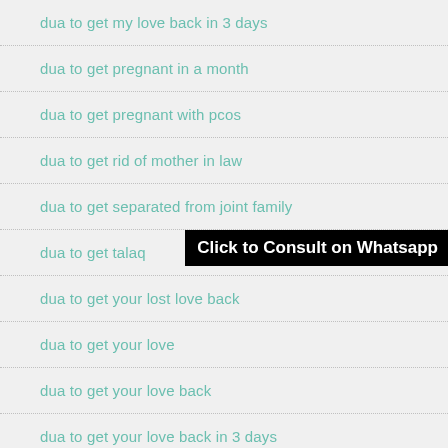dua to get my love back in 3 days
dua to get pregnant in a month
dua to get pregnant with pcos
dua to get rid of mother in law
dua to get separated from joint family
dua to get talaq
dua to get your lost love back
dua to get your love
dua to get your love back
dua to get your love back in 3 days